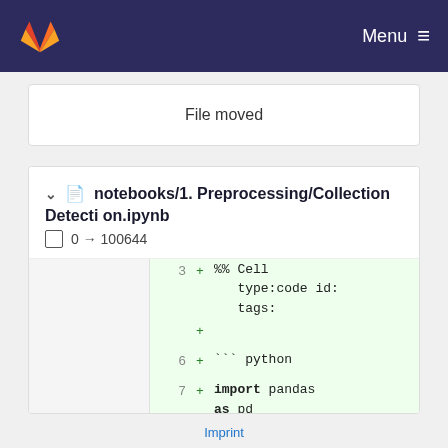Menu
File moved
notebooks/1. Preprocessing/Collection Detection.ipynb  0 → 100644
[Figure (screenshot): Code diff view showing added lines: %% Cell type:code id: tags:, ``` python, import pandas as pd, import numpy as np, from pandas.io.json import json_normalize, import datetime]
Imprint